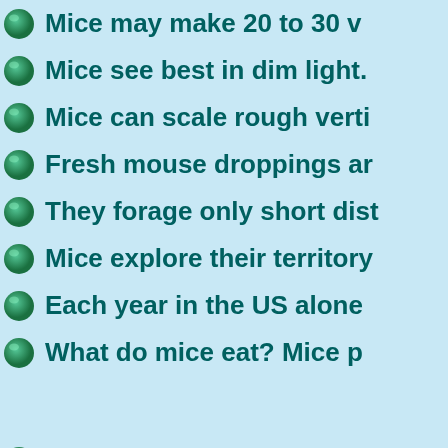Mice may make 20 to 30 v...
Mice see best in dim light.
Mice can scale rough verti...
Fresh mouse droppings ar...
They forage only short dist...
Mice explore their territory...
Each year in the US alone...
What do mice eat? Mice p...
Place dog food, birdseed a...
Keep shrubs, vines and tre...
All gaps should be less tha...
Door thresholds and frame...
Utility openings sealed wit...
Do not stack lumber, firew...
Storage areas organized a...
Garbage removed daily an...